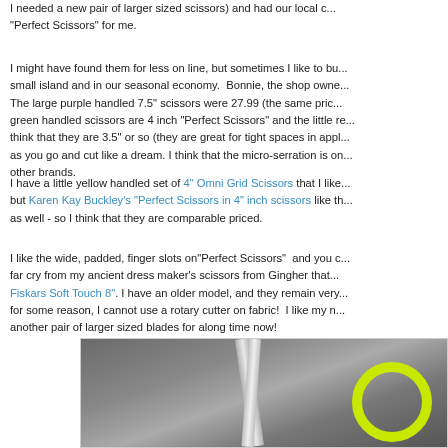I needed a new pair of larger sized scissors) and had our local c... "Perfect Scissors" for me.
I might have found them for less on line, but sometimes I like to bu... small island and in our seasonal economy. Bonnie, the shop owne... The large purple handled 7.5" scissors were 27.99 (the same pric... green handled scissors are 4 inch "Perfect Scissors" and the little re... think that they are 3.5" or so (they are great for tight spaces in appl... as you go and cut like a dream. I think that the micro-serration is on other brands.
I have a little yellow handled set of 4" Omni Grid Scissors that I like... but Karen Kay Buckley's "Perfect Scissors in 4" inch scissors like th... as well - so I think that they are comparable priced.
I like the wide, padded, finger slots on"Perfect Scissors" and you c... far cry from my ancient dress maker's scissors from Gingher that... Fiskars Soft Touch 8". I have an older model, and they remain very for some reason, I cannot use a rotary cutter on fabric! I like my n another pair of larger sized blades for along time now!
[Figure (photo): Close-up photograph of scissors blades against a dark grey fabric background, with a yellow-green handle ring visible on the right side.]